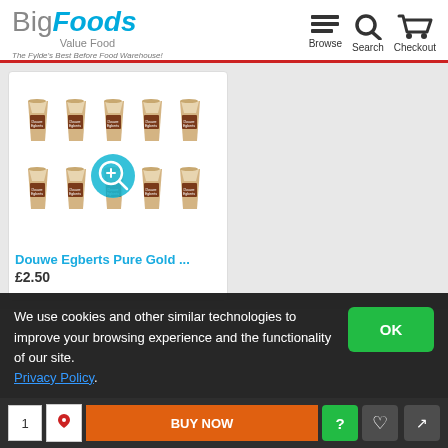BigFoods Value Food – The Fylde's Best Before Food Warehouse! | Browse Search Checkout
[Figure (photo): 10 Douwe Egberts Pure Gold instant coffee cups arranged in two rows of 5, with a zoom magnifier icon overlay in the center]
Douwe Egberts Pure Gold ...
£2.50
We use cookies and other similar technologies to improve your browsing experience and the functionality of our site. Privacy Policy.
BUY NOW